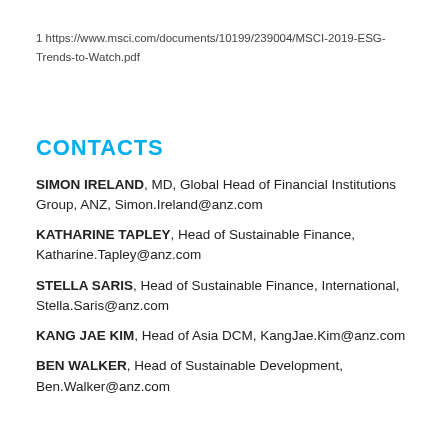1 https://www.msci.com/documents/10199/239004/MSCI-2019-ESG-Trends-to-Watch.pdf
CONTACTS
SIMON IRELAND, MD, Global Head of Financial Institutions Group, ANZ, Simon.Ireland@anz.com
KATHARINE TAPLEY, Head of Sustainable Finance, Katharine.Tapley@anz.com
STELLA SARIS, Head of Sustainable Finance, International, Stella.Saris@anz.com
KANG JAE KIM, Head of Asia DCM, KangJae.Kim@anz.com
BEN WALKER, Head of Sustainable Development, Ben.Walker@anz.com